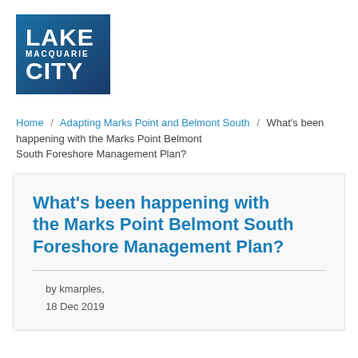[Figure (logo): Lake Macquarie City Council logo — blue gradient square with white text reading LAKE / MACQUARIE / CITY]
Home / Adapting Marks Point and Belmont South / What's been happening with the Marks Point Belmont South Foreshore Management Plan?
What's been happening with the Marks Point Belmont South Foreshore Management Plan?
by kmarples,
18 Dec 2019